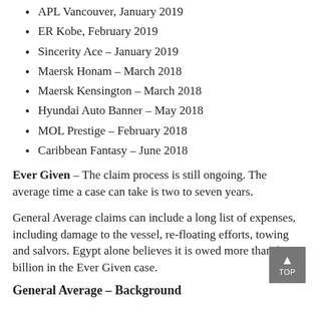APL Vancouver, January 2019
ER Kobe, February 2019
Sincerity Ace – January 2019
Maersk Honam – March 2018
Maersk Kensington – March 2018
Hyundai Auto Banner – May 2018
MOL Prestige – February 2018
Caribbean Fantasy – June 2018
Ever Given – The claim process is still ongoing. The average time a case can take is two to seven years.
General Average claims can include a long list of expenses, including damage to the vessel, re-floating efforts, towing and salvors. Egypt alone believes it is owed more than $1 billion in the Ever Given case.
General Average – Background